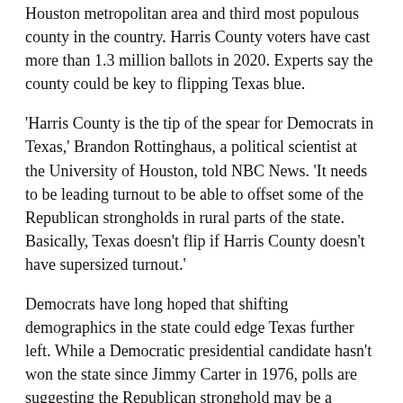Houston metropolitan area and third most populous county in the country. Harris County voters have cast more than 1.3 million ballots in 2020. Experts say the county could be key to flipping Texas blue.
'Harris County is the tip of the spear for Democrats in Texas,' Brandon Rottinghaus, a political scientist at the University of Houston, told NBC News. 'It needs to be leading turnout to be able to offset some of the Republican strongholds in rural parts of the state. Basically, Texas doesn't flip if Harris County doesn't have supersized turnout.'
Democrats have long hoped that shifting demographics in the state could edge Texas further left. While a Democratic presidential candidate hasn't won the state since Jimmy Carter in 1976, polls are suggesting the Republican stronghold may be a battleground in 2020. Real Clear Politics' polling average gives Trump a lead of just 3.2 percentage points over Biden.